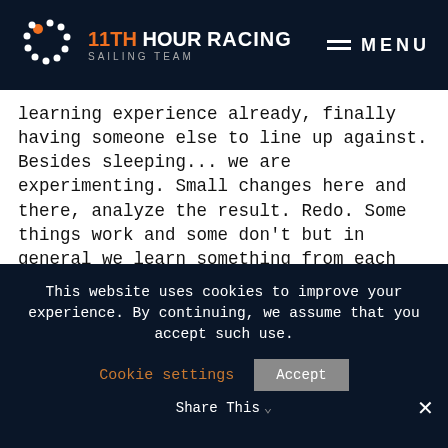11TH HOUR RACING SAILING TEAM — MENU
learning experience already, finally having someone else to line up against. Besides sleeping... we are experimenting. Small changes here and there, analyze the result. Redo. Some things work and some don't but in general we learn something from each exercise.
An hour or two of serenity is left before we get back to the big winds. We go headfirst into a front tonight before rounding the virtual mark – now 150 nautical miles away – turning around, and
This website uses cookies to improve your experience. By continuing, we assume that you accept such use. Cookie settings  Accept  Share This  ✕